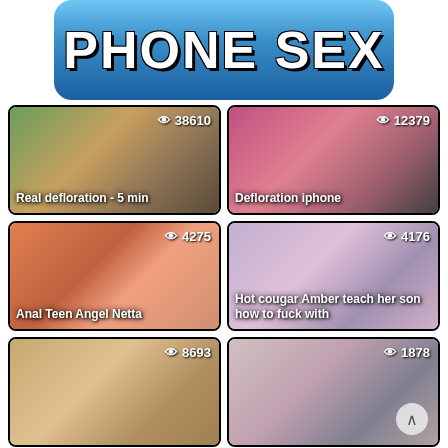PHONE SEX
[Figure (screenshot): Video thumbnail: Real defloration - 5 min, 38610 views]
Real defloration - 5 min
[Figure (screenshot): Video thumbnail: Defloration iphone, 12379 views]
Defloration iphone
[Figure (screenshot): Video thumbnail: Anal Teen Angel Netta, 4275 views]
Anal Teen Angel Netta
[Figure (screenshot): Video thumbnail: Hot cougar Amber teach her son how to fuck with, 4176 views]
Hot cougar Amber teach her son how to fuck with
[Figure (screenshot): Video thumbnail: 8693 views, partially visible]
[Figure (screenshot): Video thumbnail: 1878 views, partially visible]